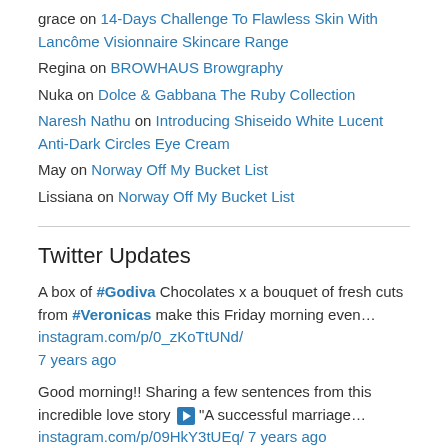grace on 14-Days Challenge To Flawless Skin With Lancôme Visionnaire Skincare Range
Regina on BROWHAUS Browgraphy
Nuka on Dolce & Gabbana The Ruby Collection
Naresh Nathu on Introducing Shiseido White Lucent Anti-Dark Circles Eye Cream
May on Norway Off My Bucket List
Lissiana on Norway Off My Bucket List
Twitter Updates
A box of #Godiva Chocolates x a bouquet of fresh cuts from #Veronicas make this Friday morning even… instagram.com/p/0_zKoTtUNd/ 7 years ago
Good morning!! Sharing a few sentences from this incredible love story ▶ "A successful marriage… instagram.com/p/09HkY3tUEq/ 7 years ago
Purple Tulips and White Calla Lilies --- my current favourites ♡ instagram.com/p/01os5TtUC5/ 7 years ago